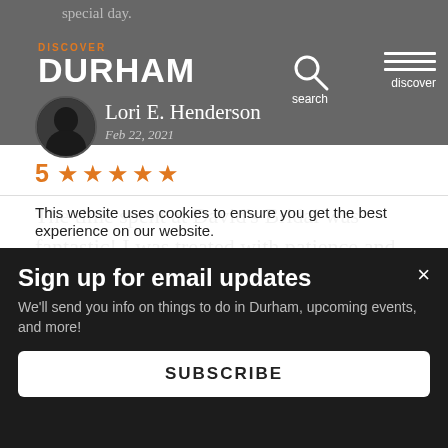special day.
[Figure (logo): Discover Durham logo with orange DISCOVER text above white DURHAM text]
Lori E. Henderson
Feb 22, 2021
5 ★★★★★
The time spent at David's Bridai was fantastic! I was treated with patience and respect. I was able to take my tim

pe
sis
This website uses cookies to ensure you get the best experience on our website.
Sign up for email updates
We'll send you info on things to do in Durham, upcoming events, and more!
SUBSCRIBE